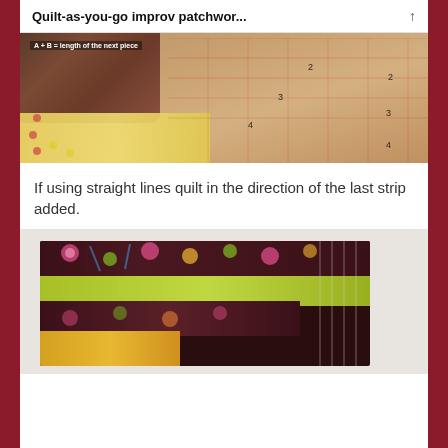Quilt-as-you-go improv patchwor...
[Figure (photo): Photo of quilting ruler overlaid on patchwork fabric pieces with label 'A + B = length of the next piece' and ruler measurements showing numbers 2, 3, 4]
If using straight lines quilt in the direction of the last strip added.
[Figure (photo): Photo of colorful patchwork quilt strips with floral and geometric fabric patterns in dark brown, yellow-green, pink and multi-color designs on white background]